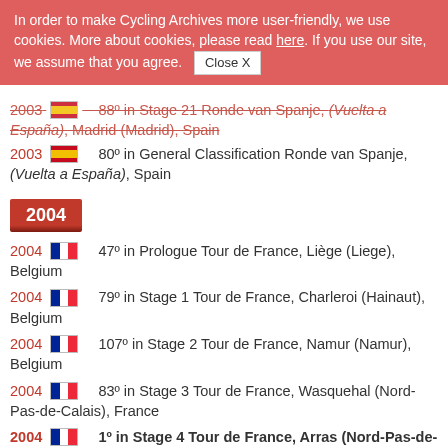In order to make Cycling Archives more user-friendly, we use cookies. More about cookies, please read here. If you use our site, we assume that you agree. [Close X]
2003 [ES] 88º in Stage 21 Ronde van Spanje, (Vuelta a España), Madrid (Madrid), Spain
2003 [ES] 80º in General Classification Ronde van Spanje, (Vuelta a España), Spain
2004
2004 [FR] 47º in Prologue Tour de France, Liège (Liege), Belgium
2004 [FR] 79º in Stage 1 Tour de France, Charleroi (Hainaut), Belgium
2004 [FR] 107º in Stage 2 Tour de France, Namur (Namur), Belgium
2004 [FR] 83º in Stage 3 Tour de France, Wasquehal (Nord-Pas-de-Calais), France
2004 [FR] 1º in Stage 4 Tour de France, Arras (Nord-Pas-de-Calais), France + Pavel Padrnos + Floyd Landis + George Hincapie Garcés + Viatcheslav Ekimov + Manuel Beltrán Martínez + José Bento Carvalho Azevedo + Lance Armstrong + Benjamín Novel González